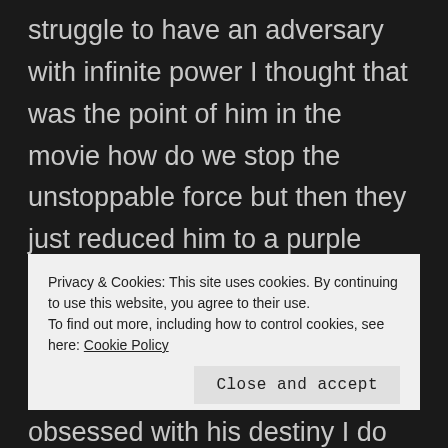struggle to have an adversary with infinite power I thought that was the point of him in the movie how do we stop the unstoppable force but then they just reduced him to a purple punching bag with the Darth Maul version of Cloud Strife's sword. Is 2014 Thanos really scary? The what 8 people on Titan almost beat him with 4 Dragon Balls and now he's supposed to fight everyone literally everyone and still pose a threat. I feel like they tried to beat Tom Brady in the Superbowl and then after they
Privacy & Cookies: This site uses cookies. By continuing to use this website, you agree to their use.
To find out more, including how to control cookies, see here: Cookie Policy
Close and accept
obsessed with his destiny I do kind of question why